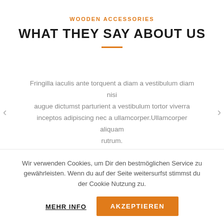WOODEN ACCESSORIES
WHAT THEY SAY ABOUT US
Fringilla iaculis ante torquent a diam a vestibulum diam nisi augue dictumst parturient a vestibulum tortor viverra inceptos adipiscing nec a ullamcorper.Ullamcorper aliquam rutrum.
Wir verwenden Cookies, um Dir den bestmöglichen Service zu gewährleisten. Wenn du auf der Seite weitersurfst stimmst du der Cookie Nutzung zu.
MEHR INFO
AKZEPTIEREN